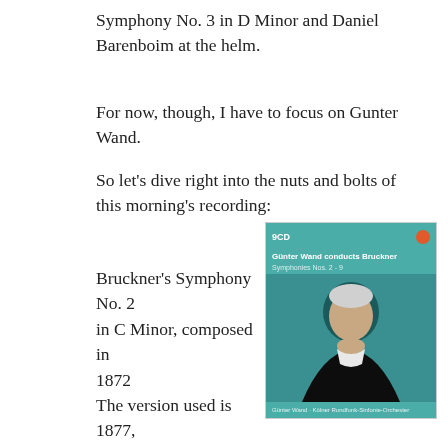Symphony No. 3 in D Minor and Daniel Barenboim at the helm.
For now, though, I have to focus on Gunter Wand.
So let's dive right into the nuts and bolts of this morning's recording:
Bruckner's Symphony No. 2 in C Minor, composed in 1872
The version used is 1877, Haas edition
Gunter Wand conducts Kolner Rundfunk-Sinfonie-Orchester plays
The symphony clocks in at 58.27
This was recorded in 1981 in Cologne, Germany
Wand was 69 when he conducted it
[Figure (photo): CD album cover for 'Günter Wand conducts Bruckner' showing a teal/green header bar with album title and a red circular icon, with a photo of an elderly conductor resting his chin on his hands against a teal background, and a teal footer bar at the bottom.]